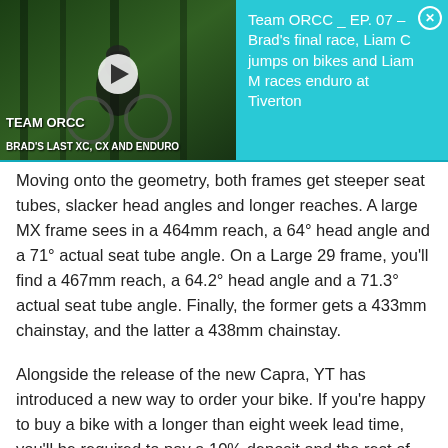[Figure (screenshot): Video thumbnail showing mountain biker in forest with play button overlay, labeled 'TEAM ORCC' and 'BRAD'S LAST XC, CX AND ENDURO'. Next to it is a teal/cyan banner with text: 'Team ORCC _ EP. 07 – Brad's final race, Liam C jumps on bikes and Liam M races enduro at Tiverton' and a close (X) button.]
Moving onto the geometry, both frames get steeper seat tubes, slacker head angles and longer reaches. A large MX frame sees in a 464mm reach, a 64° head angle and a 71° actual seat tube angle. On a Large 29 frame, you'll find a 467mm reach, a 64.2° head angle and a 71.3° actual seat tube angle. Finally, the former gets a 433mm chainstay, and the latter a 438mm chainstay.
Alongside the release of the new Capra, YT has introduced a new way to order your bike. If you're happy to buy a bike with a longer than eight week lead time, you'll be required to pay a 10% deposit and the rest of the payment will be taken four weeks before the bike ships.